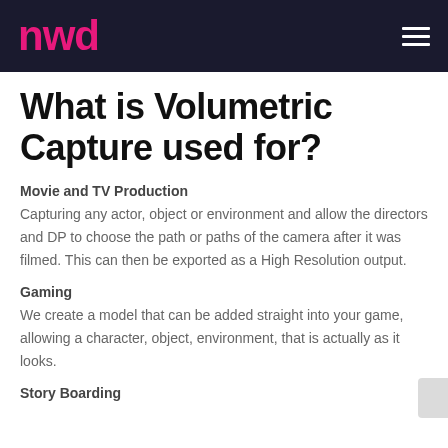nwd
What is Volumetric Capture used for?
Movie and TV Production
Capturing any actor, object or environment and allow the directors and DP to choose the path or paths of the camera after it was filmed. This can then be exported as a High Resolution output.
Gaming
We create a model that can be added straight into your game, allowing a character, object, environment, that is actually as it looks.
Story Boarding